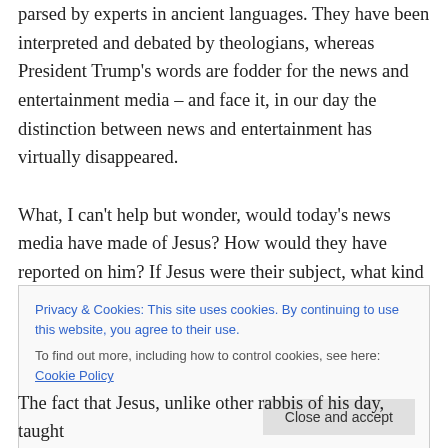parsed by experts in ancient languages. They have been interpreted and debated by theologians, whereas President Trump's words are fodder for the news and entertainment media – and face it, in our day the distinction between news and entertainment has virtually disappeared.
What, I can't help but wonder, would today's news media have made of Jesus? How would they have reported on him? If Jesus were their subject, what kind of headlines lines would today's editors splash across the page? With
Privacy & Cookies: This site uses cookies. By continuing to use this website, you agree to their use.
To find out more, including how to control cookies, see here: Cookie Policy
The fact that Jesus, unlike other rabbis of his day, taught